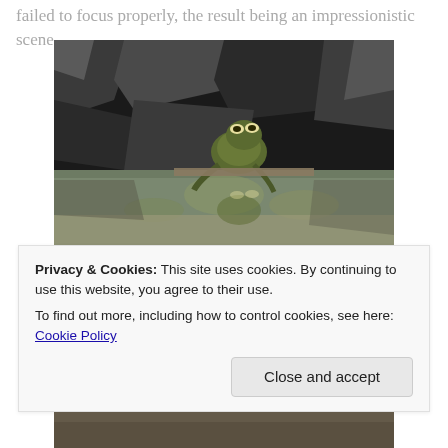failed to focus properly, the result being an impressionistic scene
[Figure (photo): A frog sitting on a rock edge at water level, with its reflection visible in the still water below. Dark rocky background behind the frog.]
Green toads doing what comes naturally on a
Privacy & Cookies: This site uses cookies. By continuing to use this website, you agree to their use.
To find out more, including how to control cookies, see here: Cookie Policy
[Figure (photo): Partial view of another photo at the bottom of the page, cut off.]